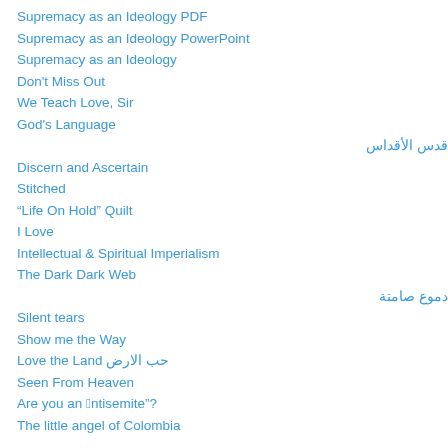Supremacy as an Ideology PDF
Supremacy as an Ideology PowerPoint
Supremacy as an Ideology
Don't Miss Out
We Teach Love, Sir
God's Language
قدس الأقداس
Discern and Ascertain
Stitched
“Life On Hold” Quilt
I Love
Intellectual & Spiritual Imperialism
The Dark Dark Web
دموع صامتة
Silent tears
Show me the Way
Love the Land حب الارض
Seen From Heaven
Are you an “antisemite”?
The little angel of Colombia